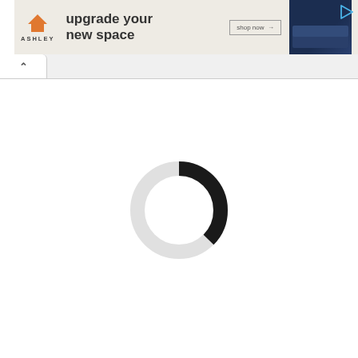[Figure (screenshot): Ashley Furniture advertisement banner with orange house logo, 'upgrade your new space' headline, 'shop now →' button, and dark blue sofa image on the right. Play button icon in top right corner.]
[Figure (screenshot): Browser tab bar showing a single tab with an upward chevron arrow icon (^) indicating a collapsed or closed tab area.]
[Figure (other): Loading spinner - a circular ring mostly light gray with a black filled arc segment on the right side, indicating page content is loading.]